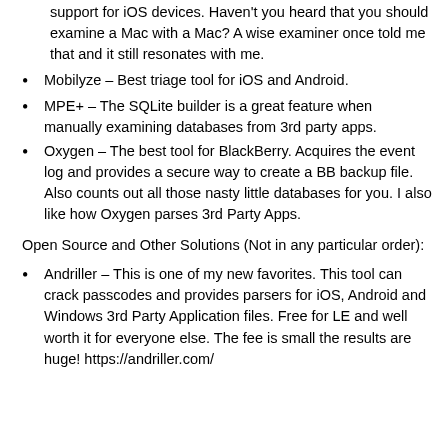support for iOS devices. Haven't you heard that you should examine a Mac with a Mac? A wise examiner once told me that and it still resonates with me.
Mobilyze – Best triage tool for iOS and Android.
MPE+ – The SQLite builder is a great feature when manually examining databases from 3rd party apps.
Oxygen – The best tool for BlackBerry. Acquires the event log and provides a secure way to create a BB backup file. Also counts out all those nasty little databases for you. I also like how Oxygen parses 3rd Party Apps.
Open Source and Other Solutions (Not in any particular order):
Andriller – This is one of my new favorites. This tool can crack passcodes and provides parsers for iOS, Android and Windows 3rd Party Application files. Free for LE and well worth it for everyone else. The fee is small the results are huge! https://andriller.com/